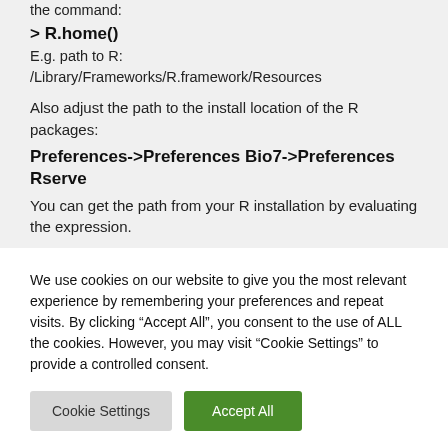the command:
> R.home()
E.g. path to R:
/Library/Frameworks/R.framework/Resources
Also adjust the path to the install location of the R packages:
Preferences->Preferences Bio7->Preferences Rserve
You can get the path from your R installation by evaluating the expression.
We use cookies on our website to give you the most relevant experience by remembering your preferences and repeat visits. By clicking “Accept All”, you consent to the use of ALL the cookies. However, you may visit "Cookie Settings" to provide a controlled consent.
Cookie Settings
Accept All